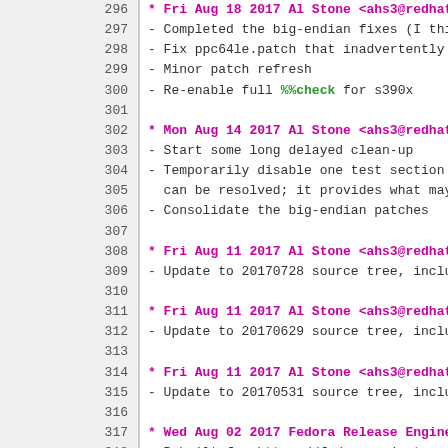296  * Fri Aug 18 2017 Al Stone <ahs3@redhat.c
297  - Completed the big-endian fixes (I think
298  - Fix ppc64le.patch that inadvertently br
299  - Minor patch refresh
300  - Re-enable full %%check for s390x
301
302  * Mon Aug 14 2017 Al Stone <ahs3@redhat.c
303  - Start some long delayed clean-up
304  - Temporarily disable one test section un
305    can be resolved; it provides what may b
306  - Consolidate the big-endian patches
307
308  * Fri Aug 11 2017 Al Stone <ahs3@redhat.c
309  - Update to 20170728 source tree, includi
310
311  * Fri Aug 11 2017 Al Stone <ahs3@redhat.c
312  - Update to 20170629 source tree, includi
313
314  * Fri Aug 11 2017 Al Stone <ahs3@redhat.c
315  - Update to 20170531 source tree, includi
316
317  * Wed Aug 02 2017 Fedora Release Enginee
318  - Rebuilt for https://fedoraproject.org/w
319
320  * Wed Jul 26 2017 Fedora Release Enginee